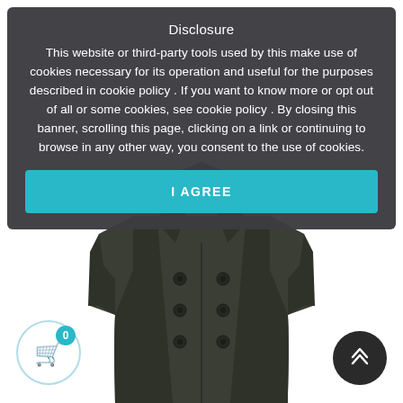Disclosure
This website or third-party tools used by this make use of cookies necessary for its operation and useful for the purposes described in cookie policy . If you want to know more or opt out of all or some cookies, see cookie policy . By closing this banner, scrolling this page, clicking on a link or continuing to browse in any other way, you consent to the use of cookies.
I AGREE
[Figure (illustration): A dark olive/charcoal double-breasted long coat displayed on a white background with no visible head/mannequin.]
[Figure (other): Shopping cart icon in a white circle with light blue border, showing badge with number 0.]
[Figure (other): Back-to-top button: dark circle with double upward chevron arrow in white.]